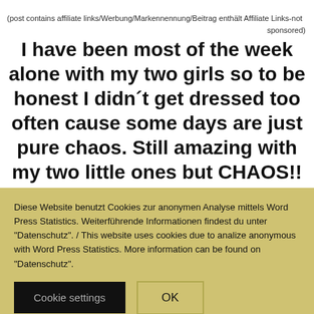(post contains affiliate links/Werbung/Markennennung/Beitrag enthält Affiliate Links-not sponsored)
I have been most of the week alone with my two girls so to be honest I didn´t get dressed too often cause some days are just pure chaos. Still amazing with my two little ones but CHAOS!! So
Diese Website benutzt Cookies zur anonymen Analyse mittels Word Press Statistics. Weiterführende Informationen findest du unter "Datenschutz". / This website uses cookies due to analize anonymous with Word Press Statistics. More information can be found on "Datenschutz".